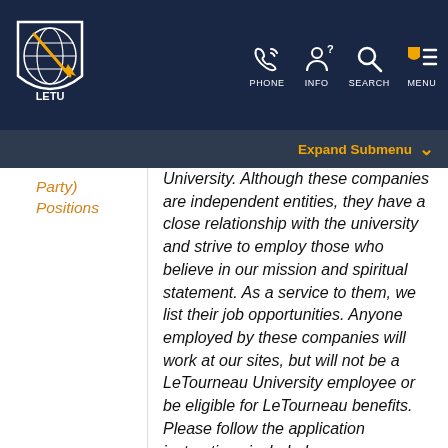LETU — PHONE, INFO, SEARCH, MENU navigation
Expand Submenu
Party) Positions
University. Although these companies are independent entities, they have a close relationship with the university and strive to employ those who believe in our mission and spiritual statement. As a service to them, we list their job opportunities. Anyone employed by these companies will work at our sites, but will not be a LeTourneau University employee or be eligible for LeTourneau benefits. Please follow the application instructions included